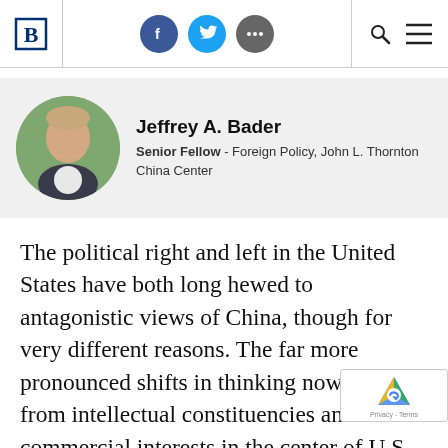Brookings Institution navigation bar with logo, social icons (Facebook, Twitter, More), search and menu
[Figure (photo): Headshot of Jeffrey A. Bader, a man in a suit smiling]
Jeffrey A. Bader
Senior Fellow - Foreign Policy, John L. Thornton China Center
The political right and left in the United States have both long hewed to antagonistic views of China, though for very different reasons. The far more pronounced shifts in thinking now emanate from intellectual constituencies and commercial interests in the center of U.S. policy debate. By default or by design, centrist opinion now aligns with senti in the Trump administration and on the right and